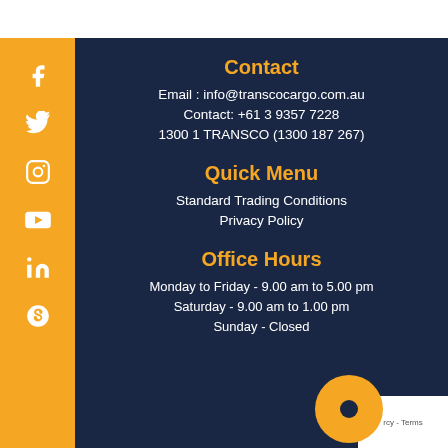Contact
Email : info@transcocargo.com.au
Contact: +61 3 9357 7228
1300 1 TRANSCO (1300 187 267)
Quick Menu
Standard Trading Conditions
Privacy Policy
Office Hours
Monday to Friday - 9.00 am to 5.00 pm
Saturday - 9.00 am to 1.00 pm
Sunday - Closed